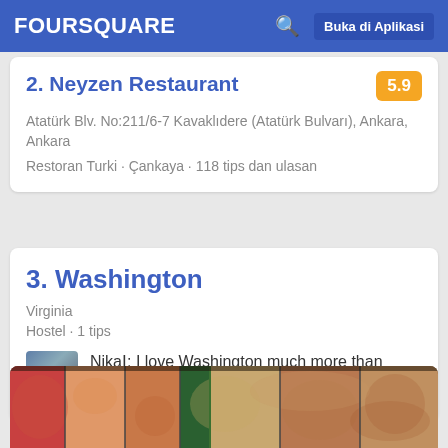FOURSQUARE   Buka di Aplikasi
2. Neyzen Restaurant
Atatürk Blv. No:211/6-7 Kavaklıdere (Atatürk Bulvarı), Ankara, Ankara
Restoran Turki · Çankaya · 118 tips dan ulasan
3. Washington
Virginia
Hostel · 1 tips
Nikaǀ: I love Washington much more than NYC!
[Figure (photo): Photo of seafood market display with shrimp and various fish on trays]